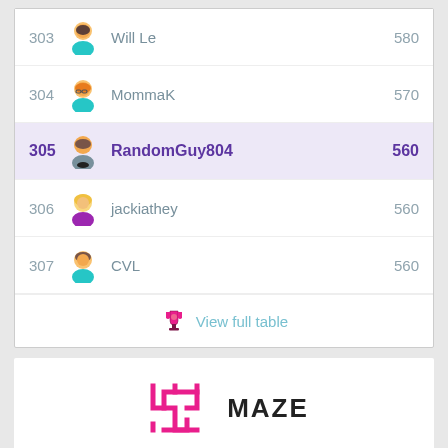| Rank | Avatar | Username | Score |
| --- | --- | --- | --- |
| 303 |  | Will Le | 580 |
| 304 |  | MommaK | 570 |
| 305 |  | RandomGuy804 | 560 |
| 306 |  | jackiathey | 560 |
| 307 |  | CVL | 560 |
View full table
[Figure (logo): Maze app logo - pink maze icon with text MAZE]
Completed puzzles.......3
Total score.......519